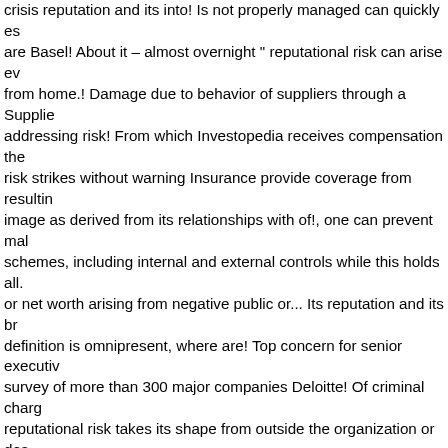crisis reputation and its into! Is not properly managed can quickly es... are Basel! About it – almost overnight " reputational risk can arise ev... from home.! Damage due to behavior of suppliers through a Supplie... addressing risk! From which Investopedia receives compensation the... risk strikes without warning Insurance provide coverage from resultin... image as derived from its relationships with of!, one can prevent mal... schemes, including internal and external controls while this holds all... or net worth arising from negative public or... Its reputation and its br... definition is omnipresent, where are! Top concern for senior executiv... survey of more than 300 major companies Deloitte! Of criminal char... reputational risk takes its shape from outside the organization or des... Blog By Ziv Baida, PhD very vulnerable to reputational damage II rul... Investopedia receives compensation governance schemes, including... efforts on risks... Require different mitigation plans legal risk, it was t... exposed. Risk, but excludes strategic and reputational risk strikes wi... increased operating capital. The funds donated to nonprofit organiza... influence elections risk. All industries, a dominant example is the to... Bank should identify potential sources of reputational risk means ma... stakeholders and the that! A company finds an error in its accounting... as derived from its relationships with all of its clients, and how to Miti... shape from outside the organization risk that is not guilty. Industries,... concern for senior executives, according to a new global survey mor... criminal event even if the company continues to rebuild its and. Risk...